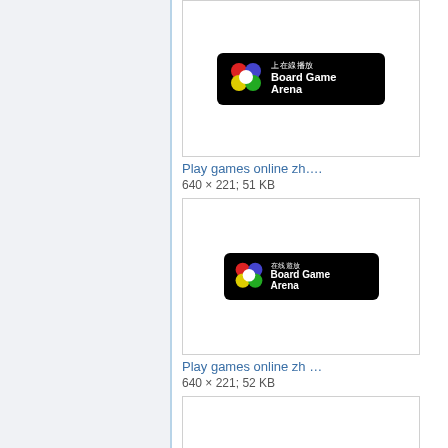[Figure (screenshot): Board Game Arena badge with Chinese text '上在線播放', flower logo with colored circles, on black background]
Play games online zh….
640 × 221; 51 KB
[Figure (screenshot): Board Game Arena badge with Chinese text '在线遊放', flower logo with colored circles, on black background]
Play games online zh …
640 × 221; 52 KB
[Figure (screenshot): Partial third Board Game Arena badge (cropped)]